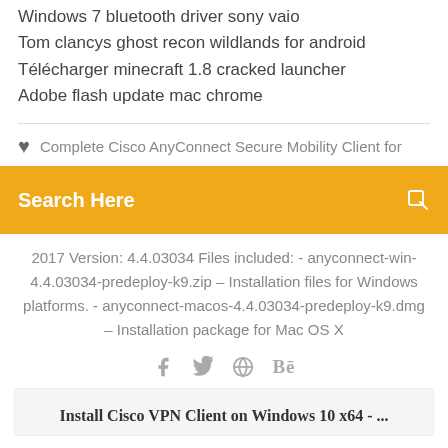Windows 7 bluetooth driver sony vaio
Tom clancys ghost recon wildlands for android
Télécharger minecraft 1.8 cracked launcher
Adobe flash update mac chrome
Complete Cisco AnyConnect Secure Mobility Client for
Search Here
2017 Version: 4.4.03034 Files included: - anyconnect-win-4.4.03034-predeploy-k9.zip – Installation files for Windows platforms. - anyconnect-macos-4.4.03034-predeploy-k9.dmg – Installation package for Mac OS X
Install Cisco VPN Client on Windows 10 x64 - ...